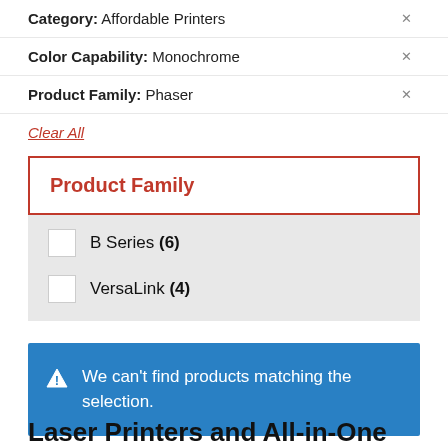Category: Affordable Printers
Color Capability: Monochrome
Product Family: Phaser
Clear All
Product Family
B Series (6)
VersaLink (4)
We can't find products matching the selection.
Laser Printers and All-in-One